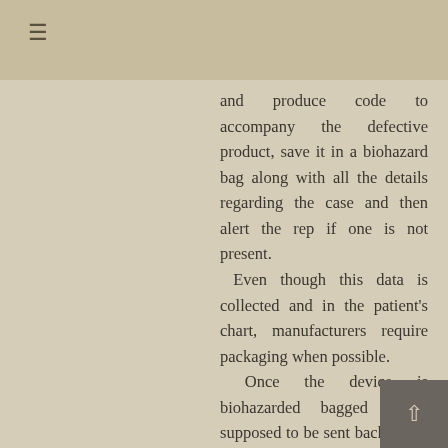☰
and produce code to accompany the defective product, save it in a biohazard bag along with all the details regarding the case and then alert the rep if one is not present.  Even though this data is collected and in the patient's chart, manufacturers require packaging when possible.  Once the device is biohazarded bagged it is supposed to be sent back to the manufacturer via the rep along with an incident report.
This is not going to be popular but it is factual:  people do not want to be associated with incident reports (MAUDE) for fear they may be...